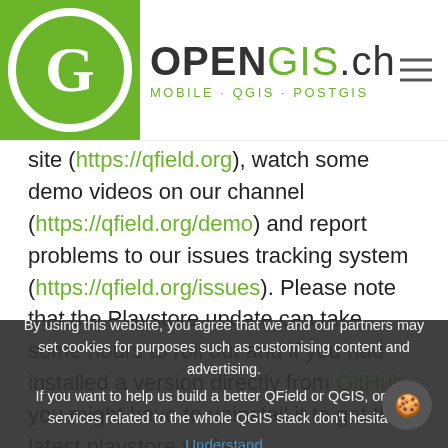OPENGIS.ch — MOBILE · QGIS · POSTGIS
site (https://qfield.org), watch some demo videos on our channel (https://qfield.org/demo) and report problems to our issues tracking system (https://qfield.org/issues). Please note that the Playstore update can take some hours to roll out and if you had installed a version directly from GitHub, you might have to uninstall it to get the latest playstore update.

QField, like QGIS, is an open source project. Everyone is welcome to contribute making the product even better – whether it is with financial support, enthusiastic programming, translation and documentation work or
By using this website, you agree that we and our partners may set cookies for purposes such as customising content and advertising.

If you want to help us build a better QField or QGIS, or any services related to the whole QGIS stack don't hesitate
Understand